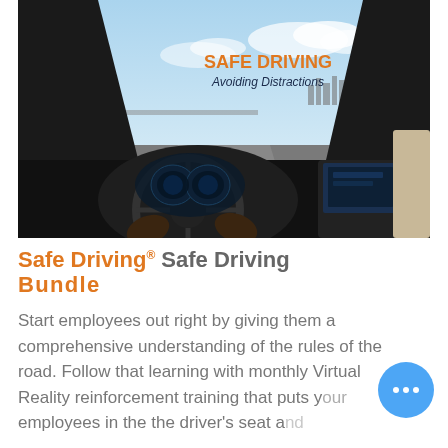[Figure (photo): Interior view from driver's seat of a car on a highway, hands on steering wheel, dashboard visible. Text overlay reads 'SAFE DRIVING Avoiding Distractions' in orange and dark blue.]
Safe Driving® Bundle
Start employees out right by giving them a comprehensive understanding of the rules of the road. Follow that learning with monthly Virtual Reality reinforcement training that puts your employees in the the driver's seat a...